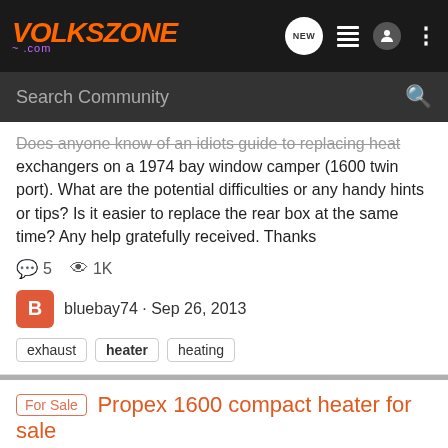VOLKSZONE .com — navigation bar with NEW, list, user, and more icons
Search Community
Does anyone know of an idiots guide to replacing heat exchangers on a 1974 bay window camper (1600 twin port). What are the potential difficulties or any handy hints or tips? Is it easier to replace the rear box at the same time? Any help gratefully received. Thanks
5 comments · 1K views
bluebay74 · Sep 26, 2013
exhaust · heater · heating
For Sale  Propex 1600 compact heater for sale
Items For Sale - NON AUTO
Fully functional and in amazingly un-messed with condition with the 'void if broken' seal still intact! I spent ages finding one like this, as these heaters have a habit of being opened